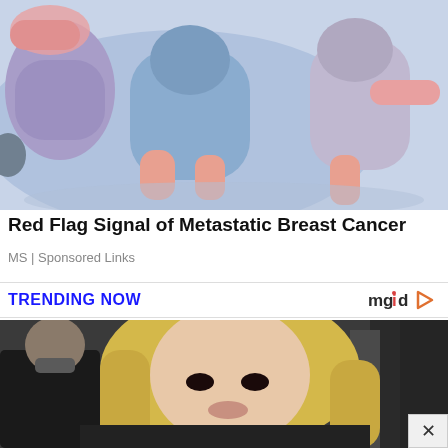[Figure (illustration): Colorful flat illustration showing stylized figures/people in blue, pink, and lavender tones at the top of the page]
Red Flag Signal of Metastatic Breast Cancer
MS | Sponsored Links
TRENDING NOW
[Figure (logo): mgid logo with play button arrow in orange/red]
[Figure (photo): Photo of a blonde woman with dark eye makeup wearing black fur, with a man in a black shirt behind her]